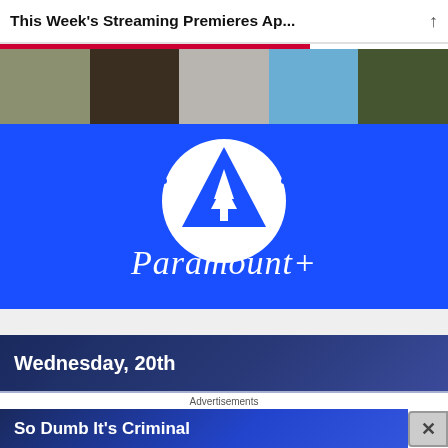This Week's Streaming Premieres Ap...
[Figure (photo): A horizontal strip of five celebrity/show promotional photos side by side]
[Figure (logo): Paramount+ logo on bright blue background with mountain and stars icon and script text 'Paramount+']
Wednesday, 20th
So Dumb It's Criminal
Advertisements